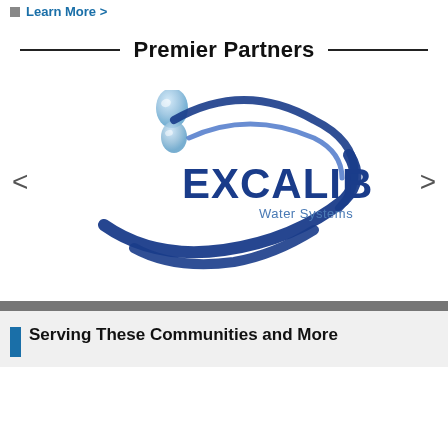Learn More >
Premier Partners
[Figure (logo): Excalibur Water Systems logo: two blue water droplets above swooping orbit-style arcs surrounding the bold text EXCALIBUR with 'Water Systems' in smaller text to the right]
Serving These Communities and More